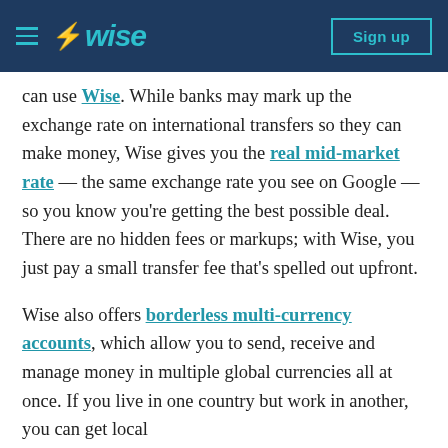Wise — Sign up
can use Wise. While banks may mark up the exchange rate on international transfers so they can make money, Wise gives you the real mid-market rate — the same exchange rate you see on Google — so you know you're getting the best possible deal. There are no hidden fees or markups; with Wise, you just pay a small transfer fee that's spelled out upfront.
Wise also offers borderless multi-currency accounts, which allow you to send, receive and manage money in multiple global currencies all at once. If you live in one country but work in another, you can get local